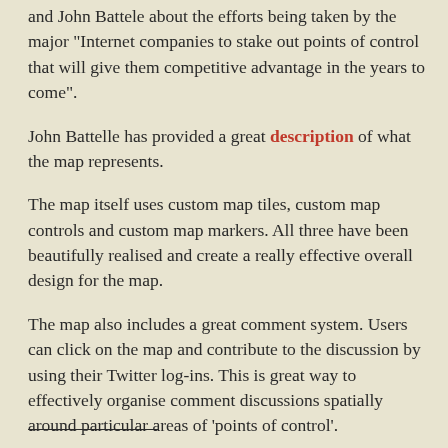and John Battele about the efforts being taken by the major "Internet companies to stake out points of control that will give them competitive advantage in the years to come".
John Battelle has provided a great description of what the map represents.
The map itself uses custom map tiles, custom map controls and custom map markers. All three have been beautifully realised and create a really effective overall design for the map.
The map also includes a great comment system. Users can click on the map and contribute to the discussion by using their Twitter log-ins. This is great way to effectively organise comment discussions spatially around particular areas of 'points of control'.
Hat-tip: Street View Funny
___________